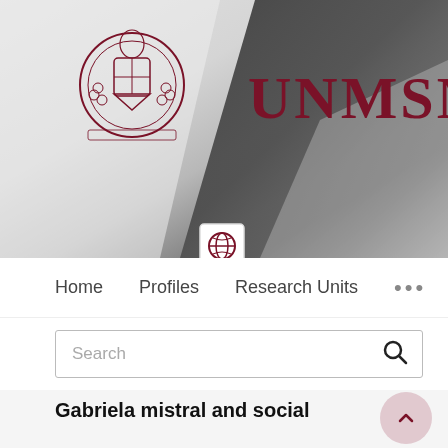[Figure (logo): UNMSM university banner with crest/coat of arms logo on left and bold 'UNMSM' text in dark red on right, over a draped fabric background photo]
Home   Profiles   Research Units   ...
Search
Gabriela mistral and social